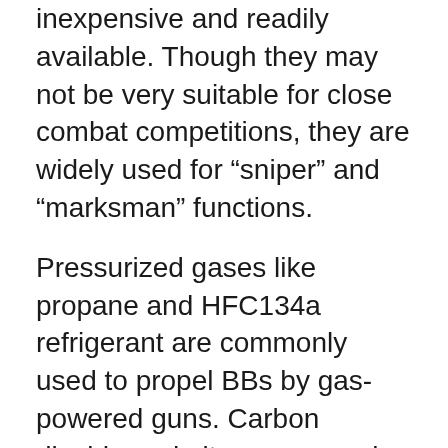inexpensive and readily available. Though they may not be very suitable for close combat competitions, they are widely used for “sniper” and “marksman” functions.
Pressurized gases like propane and HFC134a refrigerant are commonly used to propel BBs by gas-powered guns. Carbon dioxide and nitrogen may also be used aren’t as popular. Advantages to gas powered guns include adjustable velocities and blowback features. Onboard or magazine stored gas storage systems are used in gas blowback guns or GBBs, using the same compressed air that propels the pellet to pull back the slide. Hence, this feature in BBGs makes them capable of automatic or semi-automatic fire.